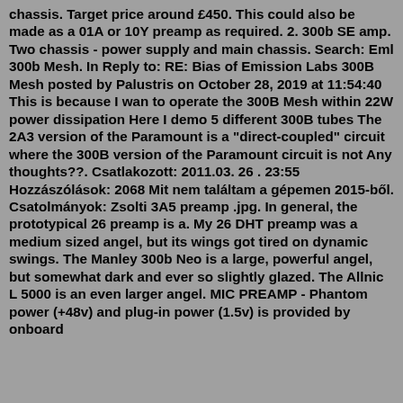chassis. Target price around £450. This could also be made as a 01A or 10Y preamp as required. 2. 300b SE amp. Two chassis - power supply and main chassis. Search: Eml 300b Mesh. In Reply to: RE: Bias of Emission Labs 300B Mesh posted by Palustris on October 28, 2019 at 11:54:40 This is because I wan to operate the 300B Mesh within 22W power dissipation Here I demo 5 different 300B tubes The 2A3 version of the Paramount is a "direct-coupled" circuit where the 300B version of the Paramount circuit is not Any thoughts??. Csatlakozott: 2011.03. 26 . 23:55 Hozzászólások: 2068 Mit nem találtam a gépemen 2015-ből. Csatolmányok: Zsolti 3A5 preamp .jpg. In general, the prototypical 26 preamp is a. My 26 DHT preamp was a medium sized angel, but its wings got tired on dynamic swings. The Manley 300b Neo is a large, powerful angel, but somewhat dark and ever so slightly glazed. The Allnic L 5000 is an even larger angel. MIC PREAMP - Phantom power (+48v) and plug-in power (1.5v) is provided by onboard